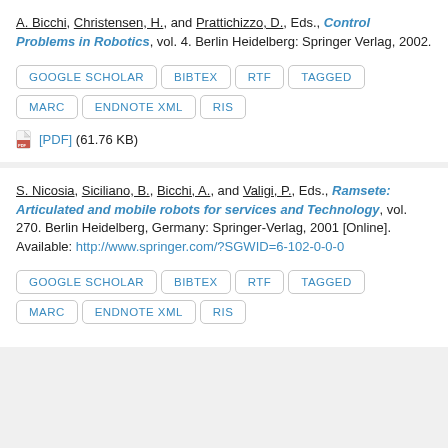A. Bicchi, Christensen, H., and Prattichizzo, D., Eds., Control Problems in Robotics, vol. 4. Berlin Heidelberg: Springer Verlag, 2002.
GOOGLE SCHOLAR | BIBTEX | RTF | TAGGED | MARC | ENDNOTE XML | RIS
[PDF] (61.76 KB)
S. Nicosia, Siciliano, B., Bicchi, A., and Valigi, P., Eds., Ramsete: Articulated and mobile robots for services and Technology, vol. 270. Berlin Heidelberg, Germany: Springer-Verlag, 2001 [Online]. Available: http://www.springer.com/?SGWID=6-102-0-0-0
GOOGLE SCHOLAR | BIBTEX | RTF | TAGGED | MARC | ENDNOTE XML | RIS